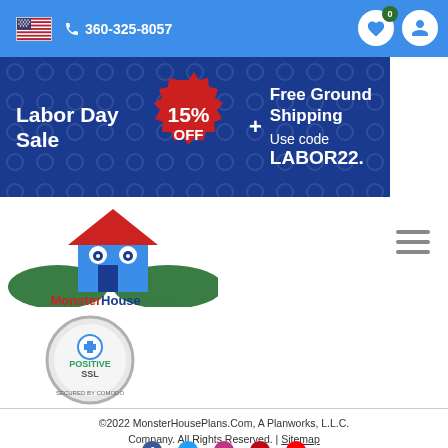360-325-8057
[Figure (infographic): Labor Day Sale banner: 15% OFF gear icon, Free Ground Shipping, Use code LABOR22.]
[Figure (logo): MonsterHousePlans logo with cartoon monster house and green hills]
[Figure (illustration): Positive SSL Secured by Comodo badge]
©2022 MonsterHousePlans.Com, A Planworks, L.L.C. Company. All Rights Reserved. | Sitemap